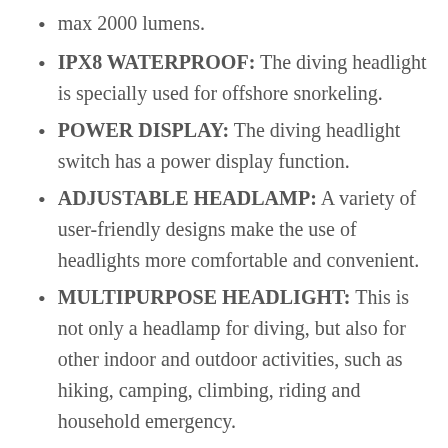max 2000 lumens.
IPX8 WATERPROOF: The diving headlight is specially used for offshore snorkeling.
POWER DISPLAY: The diving headlight switch has a power display function.
ADJUSTABLE HEADLAMP: A variety of user-friendly designs make the use of headlights more comfortable and convenient.
MULTIPURPOSE HEADLIGHT: This is not only a headlamp for diving, but also for other indoor and outdoor activities, such as hiking, camping, climbing, riding and household emergency.
Check Price on Amazon